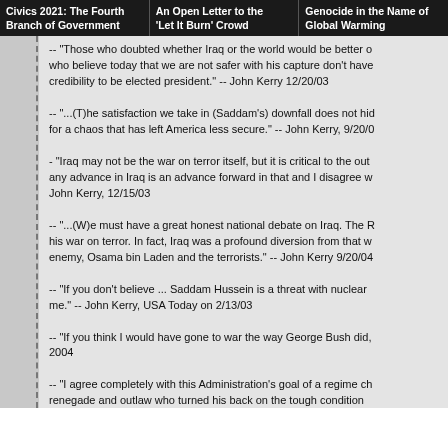Civics 2021: The Fourth Branch of Government | An Open Letter to the 'Let It Burn' Crowd | Genocide in the Name of Global Warming
-- "Those who doubted whether Iraq or the world would be better off who believe today that we are not safer with his capture don't have credibility to be elected president." -- John Kerry 12/20/03
-- "...(T)he satisfaction we take in (Saddam's) downfall does not hide for a chaos that has left America less secure." -- John Kerry, 9/20/0
- "Iraq may not be the war on terror itself, but it is critical to the out any advance in Iraq is an advance forward in that and I disagree w John Kerry, 12/15/03
-- "...(W)e must have a great honest national debate on Iraq. The R his war on terror. In fact, Iraq was a profound diversion from that w enemy, Osama bin Laden and the terrorists." -- John Kerry 9/20/04
-- "If you don't believe ... Saddam Hussein is a threat with nuclear me." -- John Kerry, USA Today on 2/13/03
-- "If you think I would have gone to war the way George Bush did, 2004
-- "I agree completely with this Administration's goal of a regime ch renegade and outlaw who turned his back on the tough condition